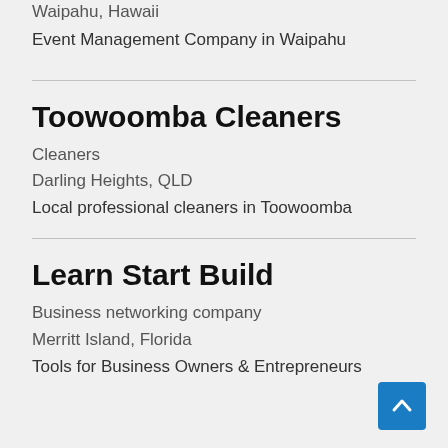Waipahu, Hawaii
Event Management Company in Waipahu
Toowoomba Cleaners
Cleaners
Darling Heights, QLD
Local professional cleaners in Toowoomba
Learn Start Build
Business networking company
Merritt Island, Florida
Tools for Business Owners & Entrepreneurs